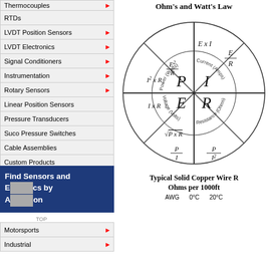Thermocouples
RTDs
LVDT Position Sensors
LVDT Electronics
Signal Conditioners
Instrumentation
Rotary Sensors
Linear Position Sensors
Pressure Transducers
Suco Pressure Switches
Cable Assemblies
Custom Products
Industrial Tech Notes
Industrial FAQ
Sale Products
Find Sensors and Electronics by Application
Motorsports
Industrial
Ohm's and Watt's Law
[Figure (infographic): Ohm's and Watt's Law circular diagram showing formulas for Power (Watts), Current (Amps), Voltage (Volts), and Resistance (Ohms) in four quadrants. Power quadrant: ExI, E²/R, I²xR. Current quadrant: E/R, P/E, √(P/R). Voltage quadrant: IxR, P/I, √(PxR). Resistance quadrant: E²/P, P/I², E/I. Center shows P, I, E, R.]
Typical Solid Copper Wire Resistance Ohms per 1000ft
AWG    0°C    20°C